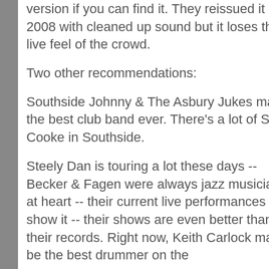version if you can find it. They reissued it 2008 with cleaned up sound but it loses the live feel of the crowd.
Two other recommendations:
Southside Johnny & The Asbury Jukes may the best club band ever. There's a lot of Sam Cooke in Southside.
Steely Dan is touring a lot these days -- Becker & Fagen were always jazz musicians at heart -- their current live performances show it -- their shows are even better than their records. Right now, Keith Carlock may be the best drummer on the